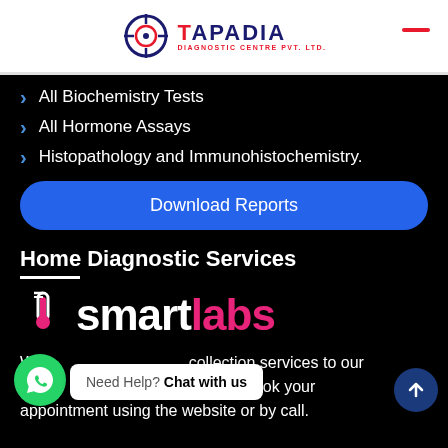[Figure (logo): Tapadia Diagnostic Centre Pvt. Ltd. logo with crosshair icon, blue and red text]
All Biochemistry Tests
All Hormone Assays
Histopathology and Immunohistochemistry.
Download Reports
Home Diagnostic Services
[Figure (logo): SmartLabs logo with test tube icon, white 'smart' and pink 'labs' text]
We provide home sample collection services to our patients through which you can book your appointment using the website or by call.